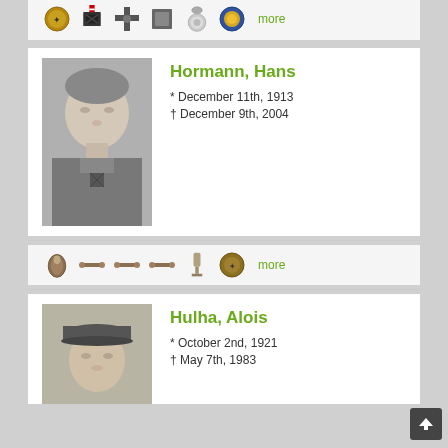[Figure (other): Row of military medals/decorations with 'more' link]
[Figure (photo): Black and white portrait photo of Hormann, Hans in military uniform]
Hormann, Hans
* December 11th, 1913
† December 9th, 2004
[Figure (other): Row of military medals/decorations with 'more' link]
[Figure (photo): Black and white portrait photo of Hulha, Alois in military cap]
Hulha, Alois
* October 2nd, 1921
† May 7th, 1983